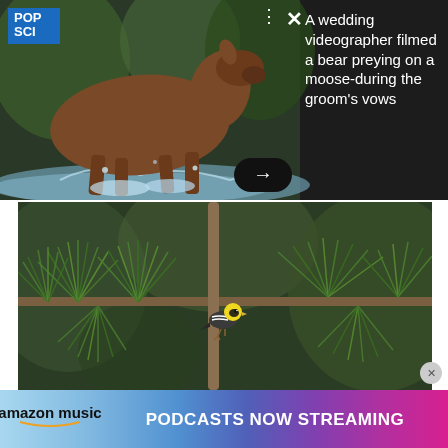[Figure (photo): POP SCI logo and a moose running through water in a forested stream, with three-dots menu and X close icon overlaid. Dark background panel on the right.]
A wedding videographer filmed a bear preying on a moose-during the groom's vows
[Figure (photo): A small bird with yellow head and black-and-white body perched on pine tree branches with green needles, blurred natural background.]
[Figure (advertisement): Amazon Music advertisement banner with gradient background reading PODCASTS NOW STREAMING]